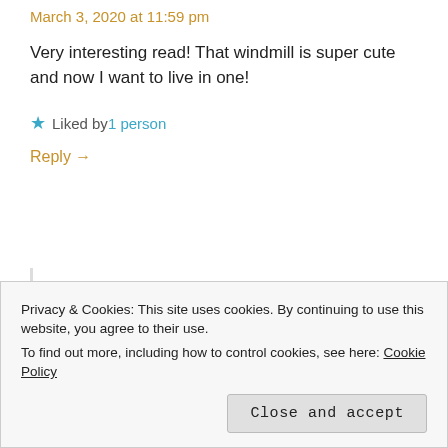March 3, 2020 at 11:59 pm
Very interesting read! That windmill is super cute and now I want to live in one!
★ Liked by 1 person
Reply →
GEMMAORTON
March 5, 2020 at 9:29 am
Let's build a windmill community!
Privacy & Cookies: This site uses cookies. By continuing to use this website, you agree to their use.
To find out more, including how to control cookies, see here: Cookie Policy
Close and accept